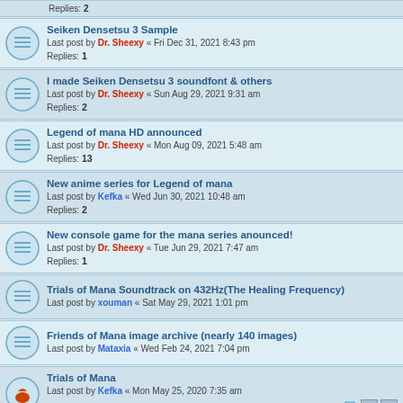Replies: 2
Seiken Densetsu 3 Sample
Last post by Dr. Sheexy « Fri Dec 31, 2021 8:43 pm
Replies: 1
I made Seiken Densetsu 3 soundfont & others
Last post by Dr. Sheexy « Sun Aug 29, 2021 9:31 am
Replies: 2
Legend of mana HD announced
Last post by Dr. Sheexy « Mon Aug 09, 2021 5:48 am
Replies: 13
New anime series for Legend of mana
Last post by Kefka « Wed Jun 30, 2021 10:48 am
Replies: 2
New console game for the mana series anounced!
Last post by Dr. Sheexy « Tue Jun 29, 2021 7:47 am
Replies: 1
Trials of Mana Soundtrack on 432Hz(The Healing Frequency)
Last post by xouman « Sat May 29, 2021 1:01 pm
Friends of Mana image archive (nearly 140 images)
Last post by Mataxia « Wed Feb 24, 2021 7:04 pm
Trials of Mana
Last post by Kefka « Mon May 25, 2020 7:35 am
Replies: 27
Collection of Mana Crossover in Last Cloudia X
Last post by manaman « Tue Apr 07, 2020 7:51 pm
Replies: 1